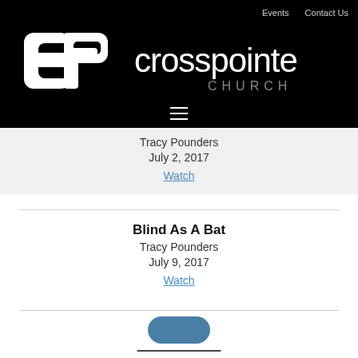Events   Contact Us
[Figure (logo): Crosspointe Church logo — stylized 'cp' monogram in white on black, with 'crosspointe CHURCH' text in white/gray]
Tracy Pounders
July 2, 2017
Watch
Blind As A Bat
Tracy Pounders
July 9, 2017
Watch